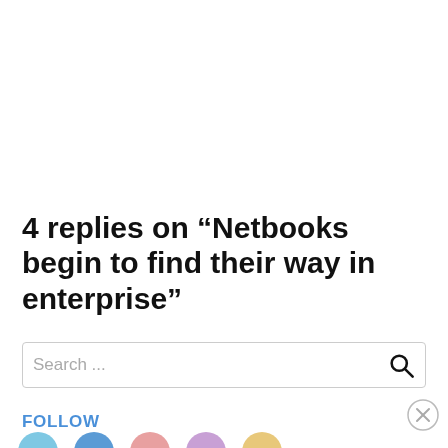4 replies on “Netbooks begin to find their way in enterprise”
Search ...
FOLLOW